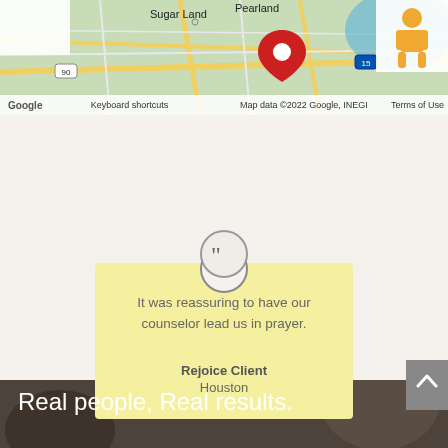[Figure (map): Google Maps screenshot showing Sugar Land, Pearland area near Houston TX with a red location pin, road overlay, and a yellow person icon in the top right corner. Map data ©2022 Google, INEGI.]
It was reassuring to have our counselor lead us in prayer.
Rejoice Client
Houston
Real people, Real results.